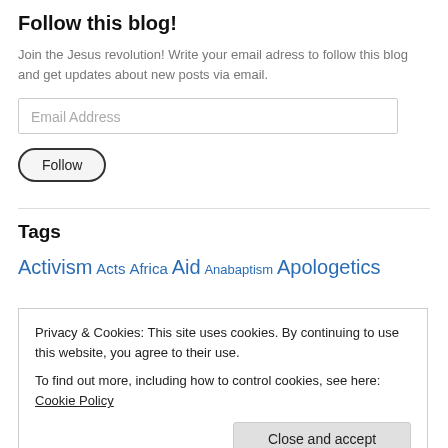Follow this blog!
Join the Jesus revolution! Write your email adress to follow this blog and get updates about new posts via email.
Email Address
Follow
Tags
Activism Acts Africa Aid Anabaptism Apologetics
Privacy & Cookies: This site uses cookies. By continuing to use this website, you agree to their use.
To find out more, including how to control cookies, see here: Cookie Policy
Close and accept
Church History Climate Change Community